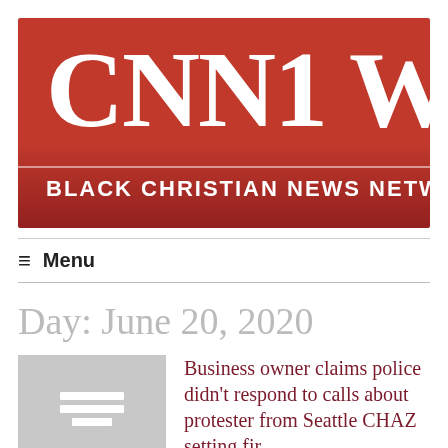[Figure (logo): CNN1 W — Black Christian News Network logo banner, red background with white serif text]
≡  Menu
Day: June 20, 2020
[Figure (illustration): Article thumbnail placeholder image (grey)]
Business owner claims police didn't respond to calls about protester from Seattle CHAZ setting fir...